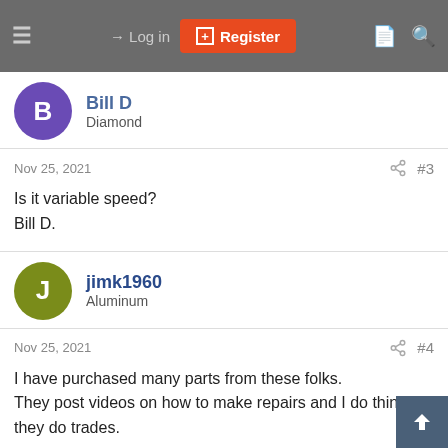Log in | Register
Bill D
Diamond
Nov 25, 2021  #3
Is it variable speed?
Bill D.
jimk1960
Aluminum
Nov 25, 2021  #4
I have purchased many parts from these folks.
They post videos on how to make repairs and I do think they do trades.